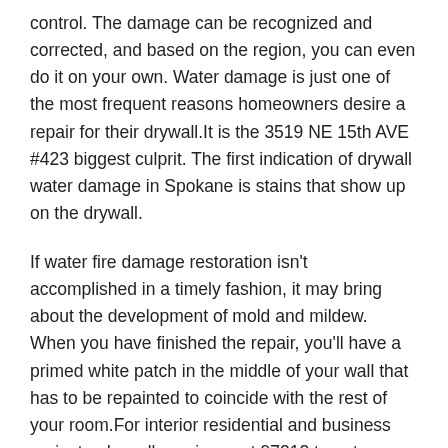control. The damage can be recognized and corrected, and based on the region, you can even do it on your own. Water damage is just one of the most frequent reasons homeowners desire a repair for their drywall.It is the 3519 NE 15th AVE #423 biggest culprit. The first indication of drywall water damage in Spokane is stains that show up on the drywall.
If water fire damage restoration isn't accomplished in a timely fashion, it may bring about the development of mold and mildew. When you have finished the repair, you'll have a primed white patch in the middle of your wall that has to be repainted to coincide with the rest of your room.For interior residential and business projects, drywall repairs want 97212 to get completed ahead of painting. The most common sort of drywall repair actually doesn't want a patch. Be advised that it's harder to work with in a number of the repairs we show. Stucco ceiling repairs are among our specialties also.
If your insurance provider doesn't supply you with a vendor list, it is